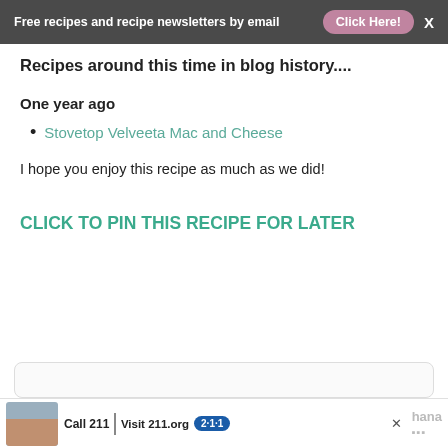Free recipes and recipe newsletters by email  Click Here!
Recipes around this time in blog history....
One year ago
Stovetop Velveeta Mac and Cheese
I hope you enjoy this recipe as much as we did!
CLICK TO PIN THIS RECIPE FOR LATER
[Figure (screenshot): Advertisement banner: Call 211 | Visit 211.org logo with a child photo and brand logo]